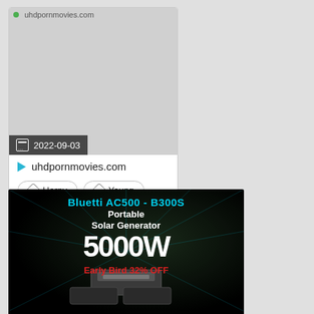[Figure (screenshot): Video thumbnail card showing uhdpornmovies.com with date 2022-09-03, site name, and tags Horny and Young]
[Figure (photo): Advertisement banner for Bluetti AC500 - B300S Portable Solar Generator 5000W with Early Bird 32% OFF offer]